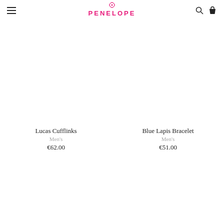PENELOPE
Lucas Cufflinks
Men's
€62.00
Blue Lapis Bracelet
Men's
€51.00